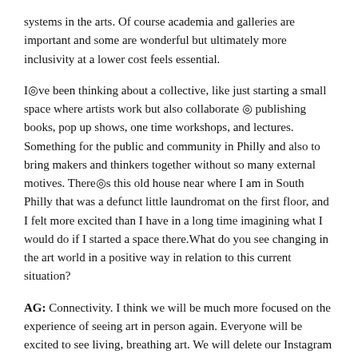systems in the arts. Of course academia and galleries are important and some are wonderful but ultimately more inclusivity at a lower cost feels essential.
I◎ve been thinking about a collective, like just starting a small space where artists work but also collaborate ◎ publishing books, pop up shows, one time workshops, and lectures. Something for the public and community in Philly and also to bring makers and thinkers together without so many external motives. There◎s this old house near where I am in South Philly that was a defunct little laundromat on the first floor, and I felt more excited than I have in a long time imagining what I would do if I started a space there.What do you see changing in the art world in a positive way in relation to this current situation?
AG: Connectivity. I think we will be much more focused on the experience of seeing art in person again. Everyone will be excited to see living, breathing art. We will delete our Instagram accounts (probably not). Collectivity. I am thinking that there will be more artist-run initiatives both online and in physical spaces due to the shifts in the economy. I saw this happen in 2008. Artists built communities to support each other, creating opportunities when there were none. Love your idea for a collective! I hope you get that laundromat. For now, publishing online, podcasts, and lectures all feel important and necessary.